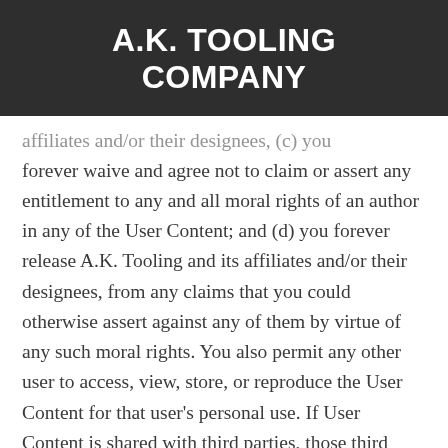A.K. TOOLING COMPANY
affiliates and/or their designees, (c) you forever waive and agree not to claim or assert any entitlement to any and all moral rights of an author in any of the User Content; and (d) you forever release A.K. Tooling and its affiliates and/or their designees, from any claims that you could otherwise assert against any of them by virtue of any such moral rights. You also permit any other user to access, view, store, or reproduce the User Content for that user's personal use. If User Content is shared with third parties, those third